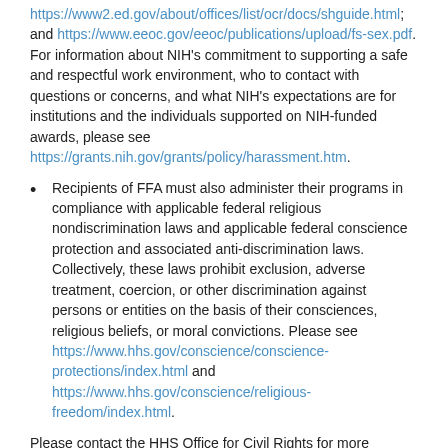https://www2.ed.gov/about/offices/list/ocr/docs/shguide.html; and https://www.eeoc.gov/eeoc/publications/upload/fs-sex.pdf. For information about NIH's commitment to supporting a safe and respectful work environment, who to contact with questions or concerns, and what NIH's expectations are for institutions and the individuals supported on NIH-funded awards, please see https://grants.nih.gov/grants/policy/harassment.htm.
Recipients of FFA must also administer their programs in compliance with applicable federal religious nondiscrimination laws and applicable federal conscience protection and associated anti-discrimination laws. Collectively, these laws prohibit exclusion, adverse treatment, coercion, or other discrimination against persons or entities on the basis of their consciences, religious beliefs, or moral convictions. Please see https://www.hhs.gov/conscience/conscience-protections/index.html and https://www.hhs.gov/conscience/religious-freedom/index.html.
Please contact the HHS Office for Civil Rights for more information about obligations and prohibitions under federal civil rights laws at https://www.hhs.gov/ocr/about-us/contact